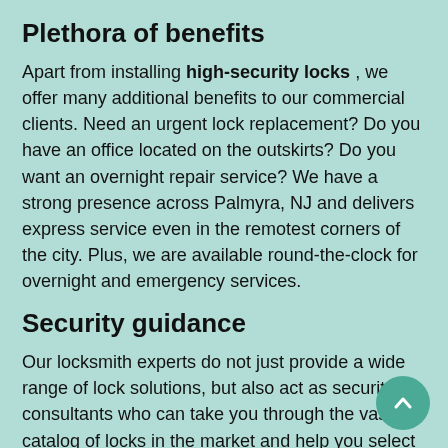Plethora of benefits
Apart from installing high-security locks , we offer many additional benefits to our commercial clients. Need an urgent lock replacement? Do you have an office located on the outskirts? Do you want an overnight repair service? We have a strong presence across Palmyra, NJ and delivers express service even in the remotest corners of the city. Plus, we are available round-the-clock for overnight and emergency services.
Security guidance
Our locksmith experts do not just provide a wide range of lock solutions, but also act as security consultants who can take you through the vast catalog of locks in the market and help you select the one that best serves your needs. Our locksmiths have been in the field for many years and delivered high-quality solutions to popular companies, both small and large. You can trust us for our